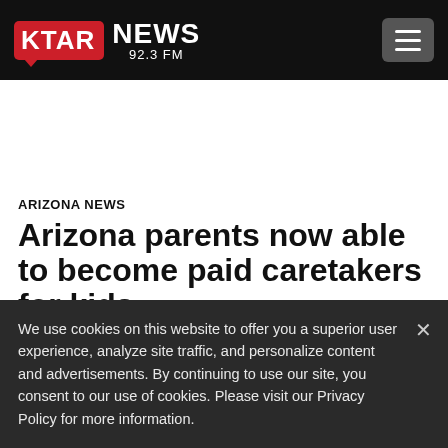KTAR NEWS 92.3 FM
ARIZONA NEWS
Arizona parents now able to become paid caretakers for kids
We use cookies on this website to offer you a superior user experience, analyze site traffic, and personalize content and advertisements. By continuing to use our site, you consent to our use of cookies. Please visit our Privacy Policy for more information.